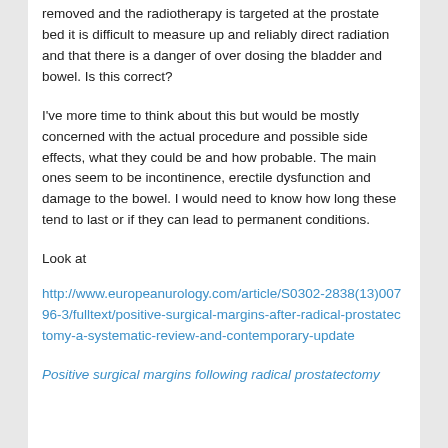removed and the radiotherapy is targeted at the prostate bed it is difficult to measure up and reliably direct radiation and that there is a danger of over dosing the bladder and bowel. Is this correct?
I've more time to think about this but would be mostly concerned with the actual procedure and possible side effects, what they could be and how probable. The main ones seem to be incontinence, erectile dysfunction and damage to the bowel. I would need to know how long these tend to last or if they can lead to permanent conditions.
Look at
http://www.europeanurology.com/article/S0302-2838(13)00796-3/fulltext/positive-surgical-margins-after-radical-prostatectomy-a-systematic-review-and-contemporary-update
Positive surgical margins following radical prostatectomy